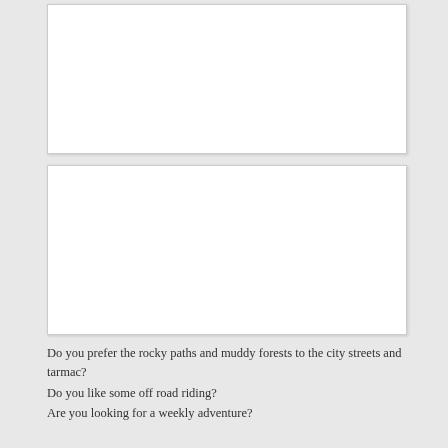[Figure (other): Empty white box, top region]
[Figure (other): Empty white box, middle region]
Do you prefer the rocky paths and muddy forests to the city streets and tarmac?
Do you like some off road riding?
Are you looking for a weekly adventure?